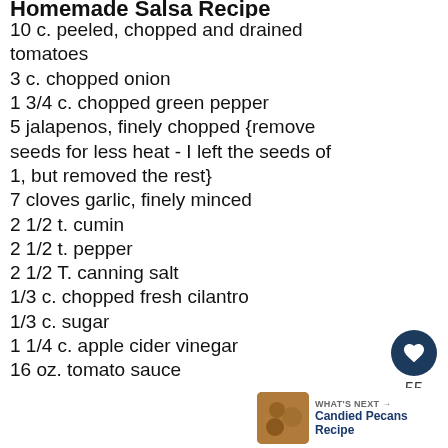Homemade Salsa Recipe
10 c. peeled, chopped and drained tomatoes
3 c. chopped onion
1 3/4 c. chopped green pepper
5 jalapenos, finely chopped {remove seeds for less heat - I left the seeds of 1, but removed the rest}
7 cloves garlic, finely minced
2 1/2 t. cumin
2 1/2 t. pepper
2 1/2 T. canning salt
1/3 c. chopped fresh cilantro
1/3 c. sugar
1 1/4 c. apple cider vinegar
16 oz. tomato sauce